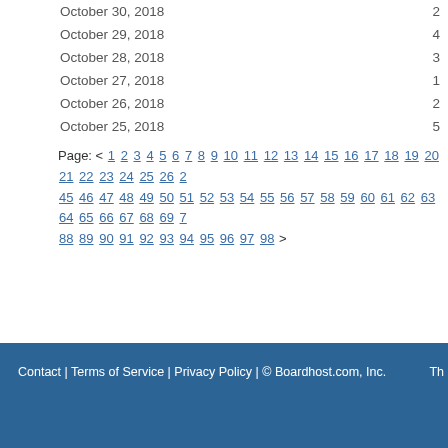October 30, 2018  2
October 29, 2018  4
October 28, 2018  3
October 27, 2018  1
October 26, 2018  2
October 25, 2018  5
Page: < 1 2 3 4 5 6 7 8 9 10 11 12 13 14 15 16 17 18 19 20 21 22 23 24 25 26 ... 45 46 47 48 49 50 51 52 53 54 55 56 57 58 59 60 61 62 63 64 65 66 67 68 69 7... 88 89 90 91 92 93 94 95 96 97 98 >
Contact | Terms of Service | Privacy Policy | © Boardhost.com, Inc.  Th...